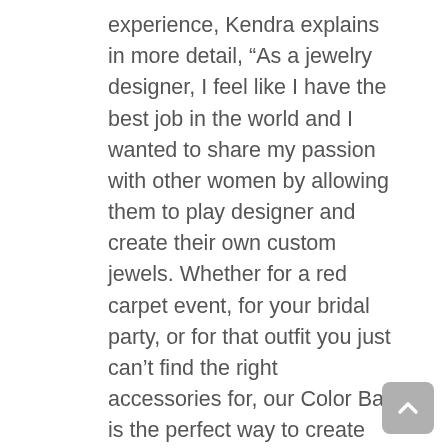experience, Kendra explains in more detail, “As a jewelry designer, I feel like I have the best job in the world and I wanted to share my passion with other women by allowing them to play designer and create their own custom jewels. Whether for a red carpet event, for your bridal party, or for that outfit you just can’t find the right accessories for, our Color Bar is the perfect way to create exactly what you’re looking for. You can create custom jewelry using our Color Bar at any of our stores or online and the process is as simple as 1, 2, 3. You simply choose from 26 jewelry silhouettes in 2 finishes, choose your custom stone combo from our 26
[Figure (other): Scroll-to-top button: grey rounded square with upward chevron arrow]